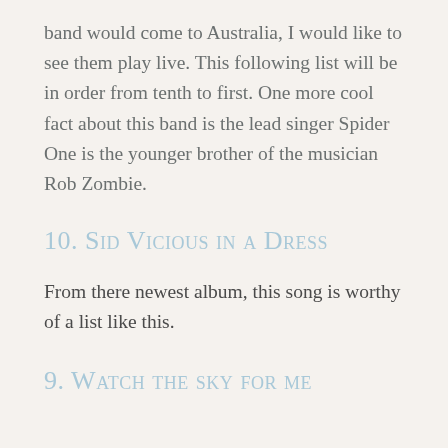band would come to Australia, I would like to see them play live. This following list will be in order from tenth to first. One more cool fact about this band is the lead singer Spider One is the younger brother of the musician Rob Zombie.
10. Sid Vicious in a Dress
From there newest album, this song is worthy of a list like this.
9. Watch the sky for me